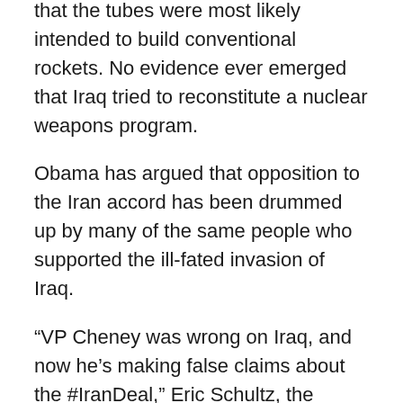that the tubes were most likely intended to build conventional rockets. No evidence ever emerged that Iraq tried to reconstitute a nuclear weapons program.
Obama has argued that opposition to the Iran accord has been drummed up by many of the same people who supported the ill-fated invasion of Iraq.
“VP Cheney was wrong on Iraq, and now he’s making false claims about the #IranDeal,” Eric Schultz, the White House’s deputy press secretary, said on Twitter as Cheney spoke.
Cheney’s speech comes as several presidential candidates prepare to make public statements about the Iran deal. Republican Senator Ted Cruz of Texas is expected to join Donald Trump at a rally for opponents of the agreement on Wednesday at the U.S. Capitol. Former